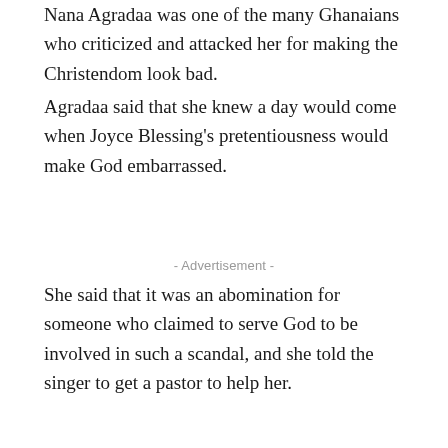Nana Agradaa was one of the many Ghanaians who criticized and attacked her for making the Christendom look bad.
Agradaa said that she knew a day would come when Joyce Blessing's pretentiousness would make God embarrassed.
- Advertisement -
She said that it was an abomination for someone who claimed to serve God to be involved in such a scandal, and she told the singer to get a pastor to help her.
She strongly warned church leaders not to do anything with Joyce Blessing unless she admitted her sins.
- Advertisement -
Nana Agradaa, on the other hand, is now taking a dose of the bitter